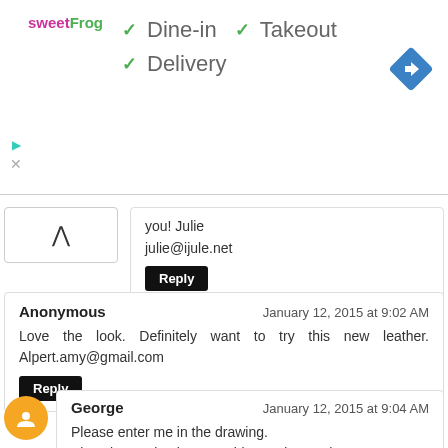[Figure (logo): sweetFrog logo in pink and green]
✓ Dine-in ✓ Takeout
✓ Delivery
[Figure (other): Blue diamond navigation icon with white right arrow]
you! Julie

julie@ijule.net
Reply
Anonymous
January 12, 2015 at 9:02 AM
Love the look. Definitely want to try this new leather. Alpert.amy@gmail.com
Reply
George
January 12, 2015 at 9:04 AM
Please enter me in the drawing.
Also please check out my blog and Etsy shop